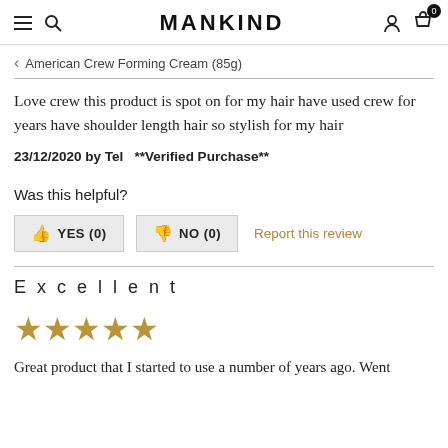MANKIND
< American Crew Forming Cream (85g)
Love crew this product is spot on for my hair have used crew for years have shoulder length hair so stylish for my hair
23/12/2020 by Tel  **Verified Purchase**
Was this helpful?
YES (0)  NO (0)  Report this review
Excellent
[Figure (other): Five gold/tan star rating icons]
Great product that I started to use a number of years ago. Went